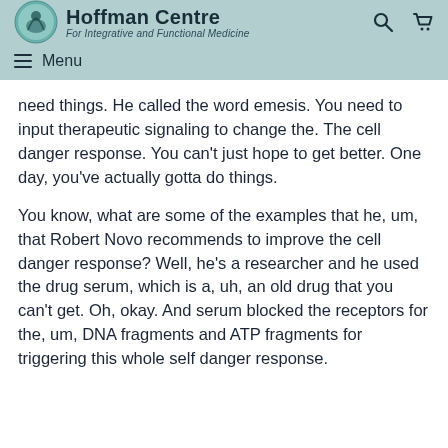Hoffman Centre For Integrative and Functional Medicine
need things. He called the word emesis. You need to input therapeutic signaling to change the. The cell danger response. You can’t just hope to get better. One day, you’ve actually gotta do things.
You know, what are some of the examples that he, um, that Robert Novo recommends to improve the cell danger response? Well, he’s a researcher and he used the drug serum, which is a, uh, an old drug that you can’t get. Oh, okay. And serum blocked the receptors for the, um, DNA fragments and ATP fragments for triggering this whole self danger response.